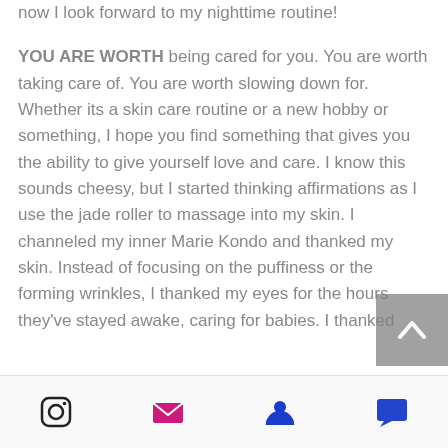now I look forward to my nighttime routine!
YOU ARE WORTH being cared for you. You are worth taking care of. You are worth slowing down for. Whether its a skin care routine or a new hobby or something, I hope you find something that gives you the ability to give yourself love and care. I know this sounds cheesy, but I started thinking affirmations as I use the jade roller to massage into my skin. I channeled my inner Marie Kondo and thanked my skin. Instead of focusing on the puffiness or the forming wrinkles, I thanked my eyes for the hours they've stayed awake, caring for babies. I thanked
[Figure (other): Scroll to top button with upward arrow chevron]
Instagram | Email | Profile | Comment icons